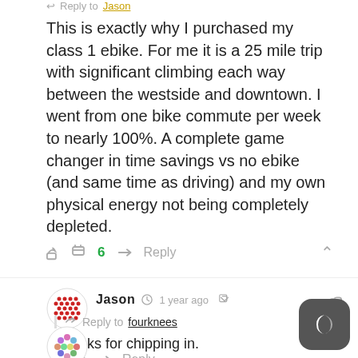Reply to Jason
This is exactly why I purchased my class 1 ebike. For me it is a 25 mile trip with significant climbing each way between the westside and downtown. I went from one bike commute per week to nearly 100%. A complete game changer in time savings vs no ebike (and same time as driving) and my own physical energy not being completely depleted.
👍 6  → Reply  ∧
[Figure (illustration): User avatar for Jason - circular icon with red dots pattern on white background]
Jason  🕐 1 year ago  < share  🔗
Reply to fourknees
Thanks for chipping in.
👍 0  → Reply
[Figure (illustration): Partial user avatar visible at bottom - circular icon with colorful pattern]
[Figure (illustration): Dark mode toggle button - dark rounded square with crescent moon icon]